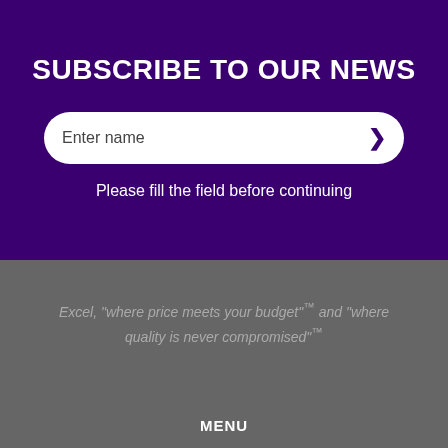SUBSCRIBE TO OUR NEWS
Enter name
Please fill the field before continuing
Excel, "where price meets your budget"™ and "where quality is never compromised"™
MENU